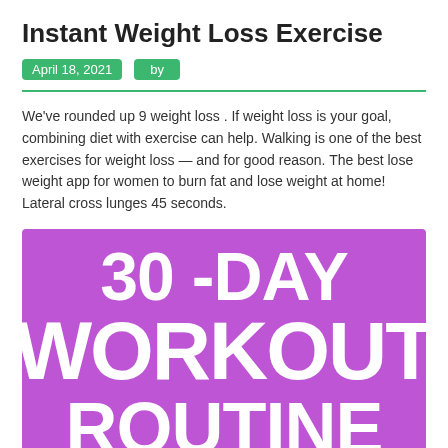Instant Weight Loss Exercise
April 18, 2021   by
We've rounded up 9 weight loss . If weight loss is your goal, combining diet with exercise can help. Walking is one of the best exercises for weight loss — and for good reason. The best lose weight app for women to burn fat and lose weight at home! Lateral cross lunges 45 seconds.
[Figure (illustration): Purple background image with large white bold text reading '30 -DAY WORKOUT ROUTINE']